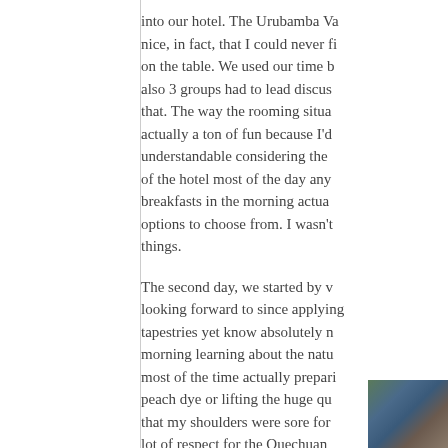into our hotel. The Urubamba Va nice, in fact, that I could never fi on the table. We used our time b also 3 groups had to lead discus that. The way the rooming situa actually a ton of fun because I'd understandable considering the of the hotel most of the day any breakfasts in the morning actua options to choose from. I wasn't things.
The second day, we started by v looking forward to since applying tapestries yet know absolutely n morning learning about the natu most of the time actually prepari peach dye or lifting the huge qu that my shoulders were sore for lot of respect for the Quechuan
[Figure (photo): Partial photo visible in bottom-right corner showing what appears to be a textile or stone surface with dark tones and reddish-brown hues]